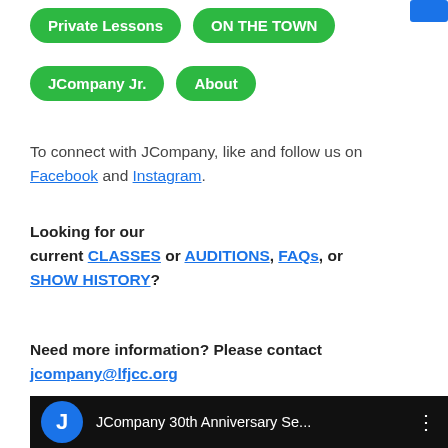Private Lessons
ON THE TOWN
JCompany Jr.
About
To connect with JCompany, like and follow us on Facebook and Instagram.
Looking for our current CLASSES or AUDITIONS, FAQs, or SHOW HISTORY?
Need more information? Please contact jcompany@lfjcc.org
-
[Figure (screenshot): Video thumbnail bar showing JCompany logo (blue circle with white J) and title 'JCompany 30th Anniversary Se...' with three-dot menu icon on dark background]